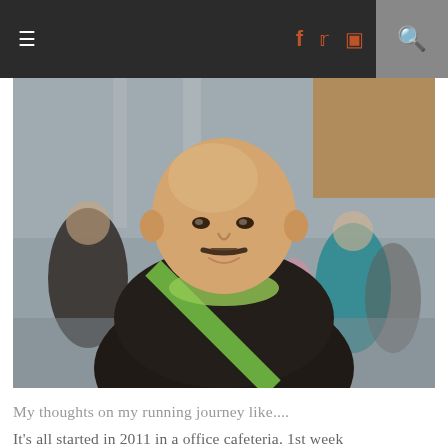☰   f  𝕥  📷   🔍
[Figure (photo): A bald Asian man with a mustache wearing a black t-shirt with a green strap across the chest, smiling at the camera. The background shows a busy outdoor area with other people in athletic wear, blurred in bokeh effect.]
My thoughts on my running journey like....
It's all started in 2011 in a office cafeteria. 1st week